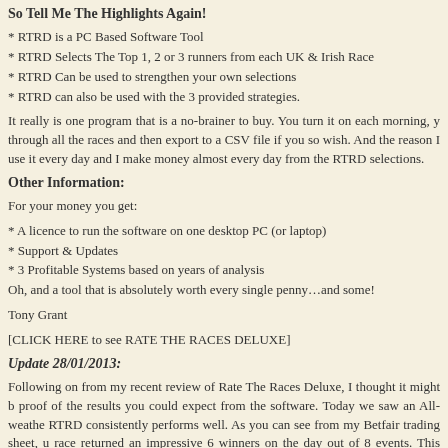So Tell Me The Highlights Again!
* RTRD is a PC Based Software Tool
* RTRD Selects The Top 1, 2 or 3 runners from each UK & Irish Race
* RTRD Can be used to strengthen your own selections
* RTRD can also be used with the 3 provided strategies.
It really is one program that is a no-brainer to buy. You turn it on each morning, y through all the races and then export to a CSV file if you so wish. And the reason I use it every day and I make money almost every day from the RTRD selections.
Other Information:
For your money you get:
* A licence to run the software on one desktop PC (or laptop)
* Support & Updates
* 3 Profitable Systems based on years of analysis
Oh, and a tool that is absolutely worth every single penny…and some!
Tony Grant
[CLICK HERE to see RATE THE RACES DELUXE]
Update 28/01/2013:
Following on from my recent review of Rate The Races Deluxe, I thought it might b proof of the results you could expect from the software. Today we saw an All-weathe RTRD consistently performs well. As you can see from my Betfair trading sheet, u race returned an impressive 6 winners on the day out of 8 events. This represen stakes returned around 5pts profit. Ok, I admit that 5pts doesnâ€™t sound a lot b